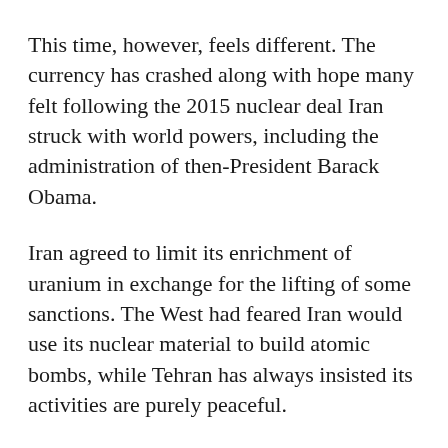This time, however, feels different. The currency has crashed along with hope many felt following the 2015 nuclear deal Iran struck with world powers, including the administration of then-President Barack Obama.
Iran agreed to limit its enrichment of uranium in exchange for the lifting of some sanctions. The West had feared Iran would use its nuclear material to build atomic bombs, while Tehran has always insisted its activities are purely peaceful.
In May, despite the United Nations repeatedly acknowledging Iran had lived up to the terms of the deal, President Donald Trump withdrew America from the accord. He said he wanted stricter terms put on Iran that included limiting its ballistic missile